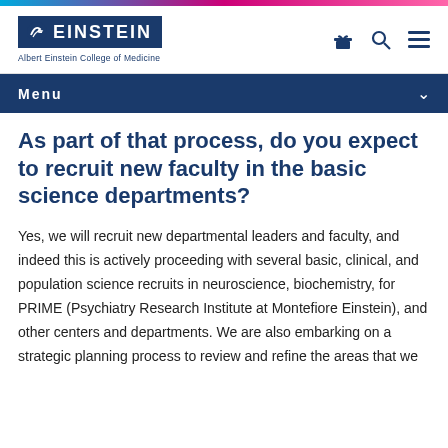Albert Einstein College of Medicine
Menu
As part of that process, do you expect to recruit new faculty in the basic science departments?
Yes, we will recruit new departmental leaders and faculty, and indeed this is actively proceeding with several basic, clinical, and population science recruits in neuroscience, biochemistry, for PRIME (Psychiatry Research Institute at Montefiore Einstein), and other centers and departments. We are also embarking on a strategic planning process to review and refine the areas that we